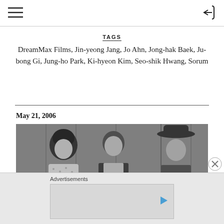≡   [←
TAGS
DreamMax Films, Jin-yeong Jang, Jo Ahn, Jong-hak Baek, Ju-bong Gi, Jung-ho Park, Ki-hyeon Kim, Seo-shik Hwang, Sorum
May 21, 2006
[Figure (photo): Black and white still from a western film showing three people: a woman in a floral dress on the left, a man wearing a sheriff's badge in the center, and a man in a cowboy hat on the right, standing in front of a wooden wall.]
Advertisements